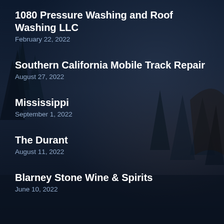1080 Pressure Washing and Roof Washing LLC
February 22, 2022
Southern California Mobile Track Repair
August 27, 2022
Mississippi
September 1, 2022
The Durant
August 11, 2022
Blarney Stone Wine & Spirits
June 10, 2022